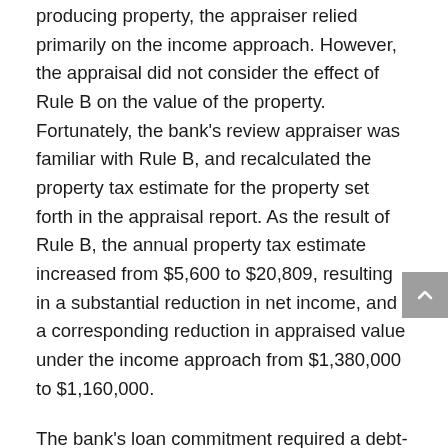producing property, the appraiser relied primarily on the income approach. However, the appraisal did not consider the effect of Rule B on the value of the property. Fortunately, the bank's review appraiser was familiar with Rule B, and recalculated the property tax estimate for the property set forth in the appraisal report. As the result of Rule B, the annual property tax estimate increased from $5,600 to $20,809, resulting in a substantial reduction in net income, and a corresponding reduction in appraised value under the income approach from $1,380,000 to $1,160,000.
The bank's loan commitment required a debt-coverage ratio of not less than 1:20 during the